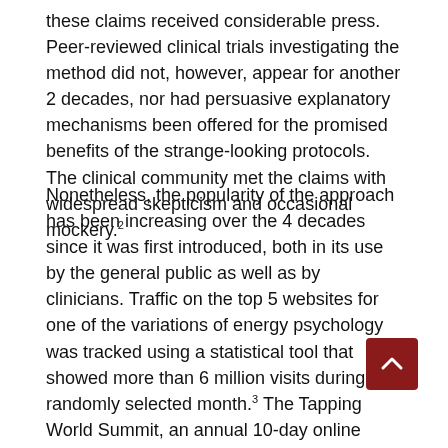these claims received considerable press. Peer-reviewed clinical trials investigating the method did not, however, appear for another 2 decades, nor had persuasive explanatory mechanisms been offered for the promised benefits of the strange-looking protocols. The clinical community met the claims with widespread skepticism and occasional mockery.²
Nonetheless, the popularity of the approach has been increasing over the 4 decades since it was first introduced, both in its use by the general public as well as by clinicians. Traffic on the top 5 websites for one of the variations of energy psychology was tracked using a statistical tool that showed more than 6 million visits during a randomly selected month.³ The Tapping World Summit, an annual 10-day online conference open to anyone has averaged more than a half million participants each of the past 12 years, with more than 600 000 individuals having participated in the 2020 event (personal communication, Nick Ortner, August 4, 2020). Because the method can be self-applied, a spate of onli… programs has emerged providing instruction in the use of
[Figure (other): Scroll-to-top button: dark red square with white upward-pointing chevron arrow]